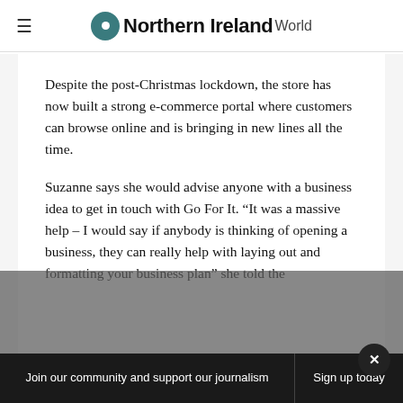Northern Ireland World
Despite the post-Christmas lockdown, the store has now built a strong e-commerce portal where customers can browse online and is bringing in new lines all the time.
Suzanne says she would advise anyone with a business idea to get in touch with Go For It. “It was a massive help – I would say if anybody is thinking of opening a business, they can really help with laying out and formatting your business plan” she told the
Join our community and support our journalism
Sign up today